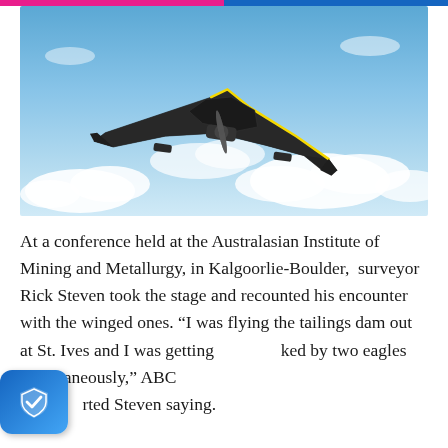[Figure (photo): A black fixed-wing drone (flying wing design) with yellow outline trim flying against a blue sky with white clouds. The drone has a rear-mounted pusher propeller and is viewed from below-front at an angle.]
At a conference held at the Australasian Institute of Mining and Metallurgy, in Kalgoorlie-Boulder, surveyor Rick Steven took the stage and recounted his encounter with the winged ones. “I was flying the tailings dam out at St. Ives and I was getting [attac]ked by two eagles simultaneously,” ABC [repor]ted Steven saying.